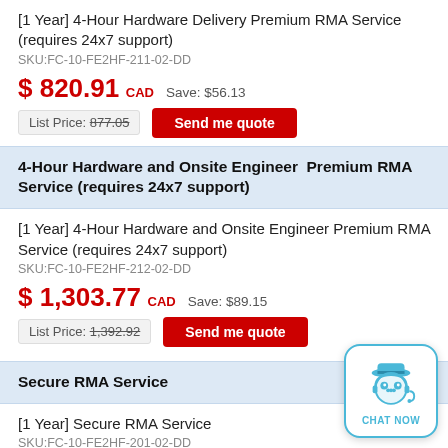[1 Year] 4-Hour Hardware Delivery Premium RMA Service (requires 24x7 support)
SKU:FC-10-FE2HF-211-02-DD
$ 820.91 CAD   Save: $56.13
List Price: 877.05   Send me quote
4-Hour Hardware and Onsite Engineer  Premium RMA Service (requires 24x7 support)
[1 Year] 4-Hour Hardware and Onsite Engineer Premium RMA Service (requires 24x7 support)
SKU:FC-10-FE2HF-212-02-DD
$ 1,303.77 CAD   Save: $89.15
List Price: 1,392.92   Send me quote
Secure RMA Service
[1 Year] Secure RMA Service
SKU:FC-10-FE2HF-201-02-DD